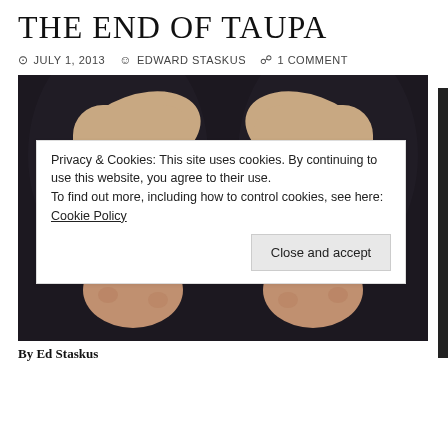THE END OF TAUPA
JULY 1, 2013   EDWARD STASKUS   1 COMMENT
[Figure (photo): A person's hands handcuffed behind their back, against a dark background. Close-up photo showing handcuffs on wrists.]
Privacy & Cookies: This site uses cookies. By continuing to use this website, you agree to their use.
To find out more, including how to control cookies, see here: Cookie Policy
Close and accept
By Ed Staskus